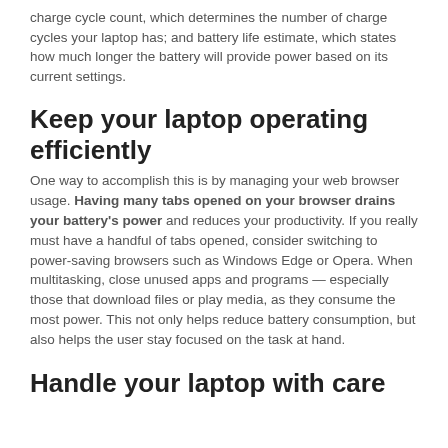charge cycle count, which determines the number of charge cycles your laptop has; and battery life estimate, which states how much longer the battery will provide power based on its current settings.
Keep your laptop operating efficiently
One way to accomplish this is by managing your web browser usage. Having many tabs opened on your browser drains your battery's power and reduces your productivity. If you really must have a handful of tabs opened, consider switching to power-saving browsers such as Windows Edge or Opera. When multitasking, close unused apps and programs — especially those that download files or play media, as they consume the most power. This not only helps reduce battery consumption, but also helps the user stay focused on the task at hand.
Handle your laptop with care